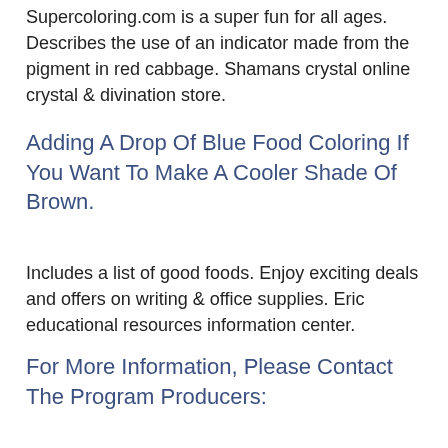Supercoloring.com is a super fun for all ages. Describes the use of an indicator made from the pigment in red cabbage. Shamans crystal online crystal & divination store.
Adding A Drop Of Blue Food Coloring If You Want To Make A Cooler Shade Of Brown.
Includes a list of good foods. Enjoy exciting deals and offers on writing & office supplies. Eric educational resources information center.
For More Information, Please Contact The Program Producers:
The easiest way to make brown food coloring is to mix equal amounts of red and green food coloring together. Here's a look at some of the canyon's